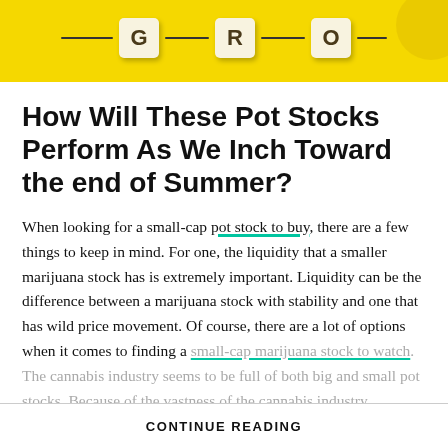[Figure (photo): Yellow banner with Scrabble-like letter tiles spelling GRO connected by a curved black line, with a partial yellow circular object in upper right corner.]
How Will These Pot Stocks Perform As We Inch Toward the end of Summer?
When looking for a small-cap pot stock to buy, there are a few things to keep in mind. For one, the liquidity that a smaller marijuana stock has is extremely important. Liquidity can be the difference between a marijuana stock with stability and one that has wild price movement. Of course, there are a lot of options when it comes to finding a small-cap marijuana stock to watch. The cannabis industry seems to be full of both big and small pot stocks. Because of the vastness of the cannabis industry...
CONTINUE READING